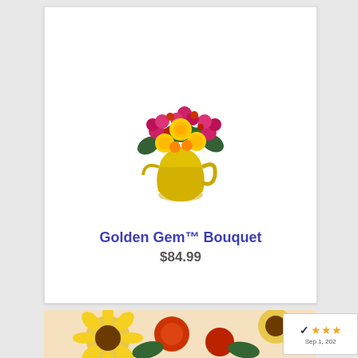[Figure (photo): Flower bouquet in a gold pitcher vase with yellow roses and pink/magenta flowers on a white background]
Golden Gem™ Bouquet
$84.99
[Figure (photo): Sunflower and mixed warm-colored flower bouquet, partial view, yellow and red tones]
[Figure (other): Rating badge with 3 orange stars and date Sep 1, 202...]